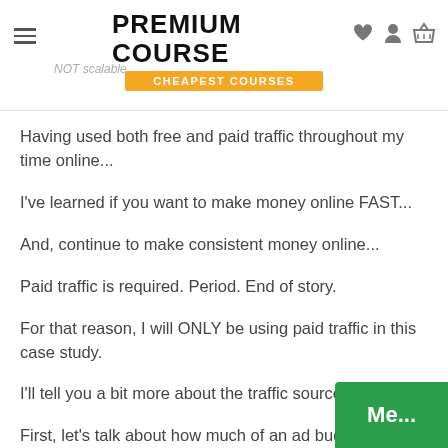PREMIUM COURSE / CHEAPEST COURSES
Having used both free and paid traffic throughout my time online...
I've learned if you want to make money online FAST...
And, continue to make consistent money online...
Paid traffic is required. Period. End of story.
For that reason, I will ONLY be using paid traffic in this case study.
I'll tell you a bit more about the traffic source in a sec.
First, let's talk about how much of an ad bud